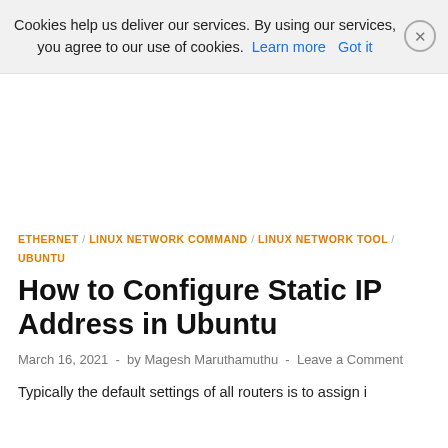Cookies help us deliver our services. By using our services, you agree to our use of cookies. Learn more Got it
ETHERNET / LINUX NETWORK COMMAND / LINUX NETWORK TOOL / UBUNTU
How to Configure Static IP Address in Ubuntu
March 16, 2021 - by Magesh Maruthamuthu - Leave a Comment
Typically the default settings of all routers is to assign i